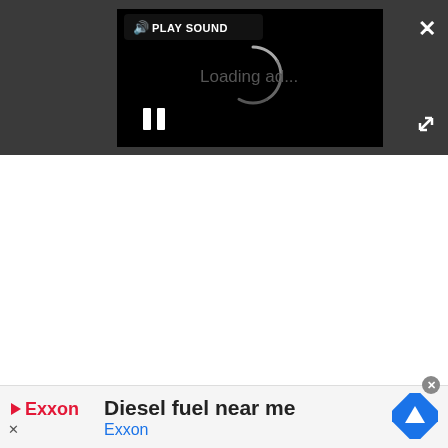[Figure (screenshot): Video player UI in a dark gray overlay. A black video area shows a loading spinner and pause button. A 'PLAY SOUND' button with speaker icon is visible top-left of the video. An X close button is top-right of the overlay. An expand/fullscreen icon is to the right of the video.]
[Figure (screenshot): Advertisement banner at the bottom. Exxon logo with play icon and X dismiss button on the left. Text reads 'Diesel fuel near me' in bold black and 'Exxon' in blue. A blue diamond navigation/map icon is on the right.]